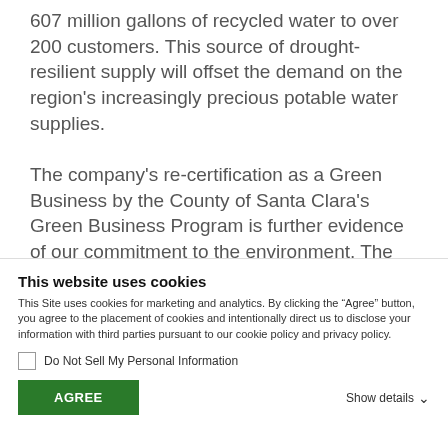607 million gallons of recycled water to over 200 customers. This source of drought-resilient supply will offset the demand on the region's increasingly precious potable water supplies.
The company's re-certification as a Green Business by the County of Santa Clara's Green Business Program is further evidence of our commitment to the environment. The
This website uses cookies
This Site uses cookies for marketing and analytics. By clicking the “Agree” button, you agree to the placement of cookies and intentionally direct us to disclose your information with third parties pursuant to our cookie policy and privacy policy.
Do Not Sell My Personal Information
AGREE
Show details